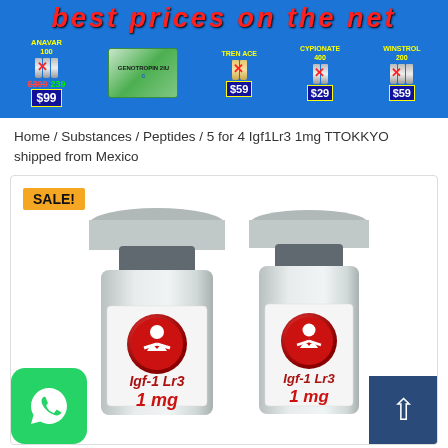[Figure (infographic): Banner advertisement for online steroid/peptide shop showing 'best prices on the net' with product listings: Anavar 100 (was $399, now $239, $99 each), Genotropin 2IU, Tren Ace ($59), Cypionate 400 ($29), Winstrol 200 ($59)]
Home / Substances / Peptides / 5 for 4 Igf1Lr3 1mg TTOKKYO shipped from Mexico
[Figure (photo): Two pharmaceutical vials labeled 'Igf-1 Lr3 1mg' with TTOKKYO branding (red circle logo with white figure), silver caps. A 'SALE!' badge appears top-left of the product card.]